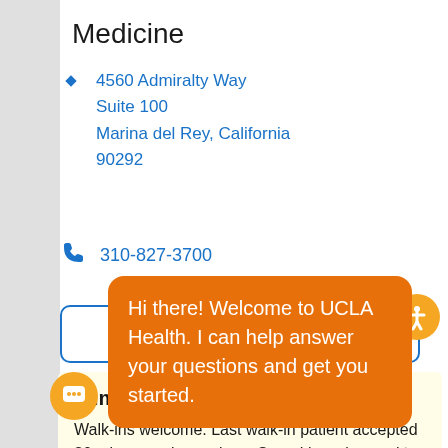Medicine
4560 Admiralty Way
Suite 100
Marina del Rey, California
90292
310-827-3700
Location Details
Immediate Care
Walk-ins welcome. Last walk-in patient accepted 30 minutes prior to close. Spend less time waiting in the ER...
the nearest emergency room.
Hi there! Welcome to UCLA Health. I can help answer your questions and get you started.